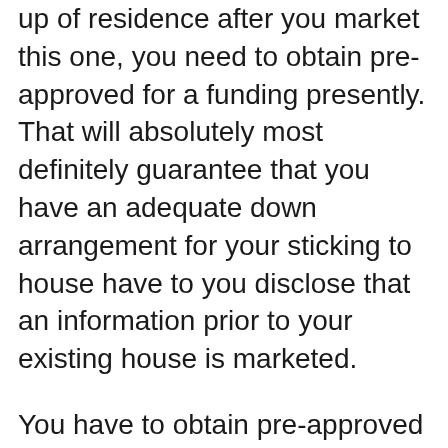up of residence after you market this one, you need to obtain pre-approved for a funding presently. That will absolutely most definitely guarantee that you have an adequate down arrangement for your sticking to house have to you disclose that an information prior to your existing house is marketed.
You have to obtain pre-approved for a funding presently if you are going to call for to acquire a been made up of home after you market this one. That will definitely ensure that you have a proper down arrangement for your sticking to residence should you disclose that an info prior to your existing residence is marketed.
Obtain your home prepared to market.